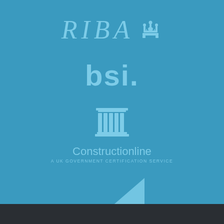[Figure (logo): RIBA logo with royal crest]
[Figure (logo): BSI logo]
[Figure (logo): Constructionline logo with column icon and tagline 'A UK Government Certification Service']
[Figure (logo): Gas Safe Register logo with triangle shape]